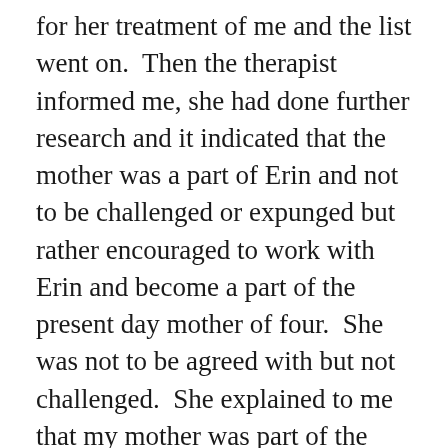for her treatment of me and the list went on. Then the therapist informed me, she had done further research and it indicated that the mother was a part of Erin and not to be challenged or expunged but rather encouraged to work with Erin and become a part of the present day mother of four. She was not to be agreed with but not challenged. She explained to me that my mother was part of the formation of my personality and that I was unable to let go of her, so had to learn to unite with working towards one person, one mind not a fragmented milieu of tortured brain fractures. To this day she still appears at sessions but she is at last